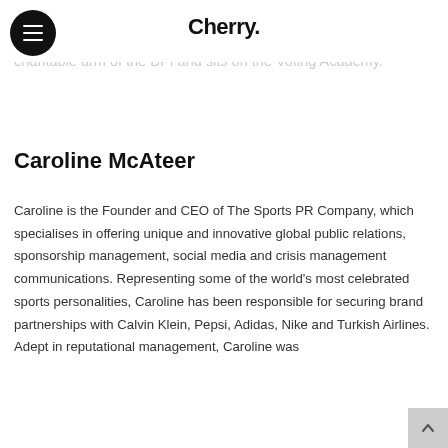[Figure (logo): Cherry. logo with hamburger menu button on the left]
luxury fashion, as the first ever artist to be the face of Balenciaga, a Trustee and Chair of the PR Committee of the BPI Trust, the charitable arm of the BPI and sits on the Voting Academy.
Caroline McAteer
Caroline is the Founder and CEO of The Sports PR Company, which specialises in offering unique and innovative global public relations, sponsorship management, social media and crisis management communications. Representing some of the world's most celebrated sports personalities, Caroline has been responsible for securing brand partnerships with Calvin Klein, Pepsi, Adidas, Nike and Turkish Airlines. Adept in reputational management, Caroline was